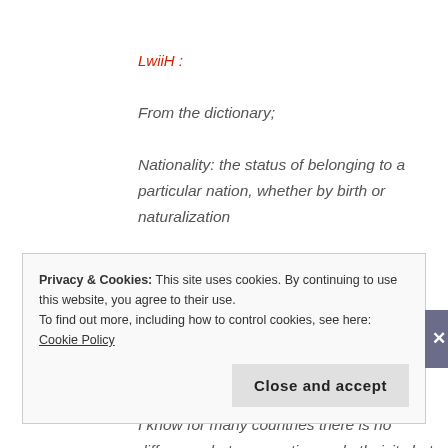LwiiH :
From the dictionary;
Nationality: the status of belonging to a particular nation, whether by birth or naturalization
Ethnic Group: pertaining to or characteristic of a people, especially a group (ethnic group) sharing a common and distinctive culture, religion, language, or the like.
I know for many countries there is no difference between nation and ethnicity but this mis-use and mixing of terms is maddening!!!!
Privacy & Cookies: This site uses cookies. By continuing to use this website, you agree to their use.
To find out more, including how to control cookies, see here: Cookie Policy
Close and accept